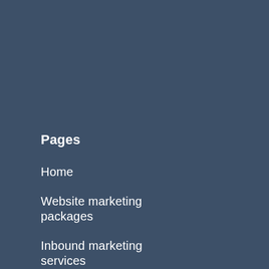Pages
Home
Website marketing packages
Inbound marketing services
About